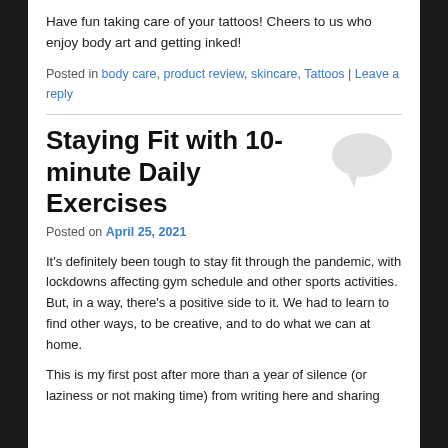Have fun taking care of your tattoos! Cheers to us who enjoy body art and getting inked!
Posted in body care, product review, skincare, Tattoos | Leave a reply
Staying Fit with 10-minute Daily Exercises
Posted on April 25, 2021
It’s definitely been tough to stay fit through the pandemic, with lockdowns affecting gym schedule and other sports activities. But, in a way, there’s a positive side to it. We had to learn to find other ways, to be creative, and to do what we can at home.
This is my first post after more than a year of silence (or laziness or not making time) from writing here and sharing